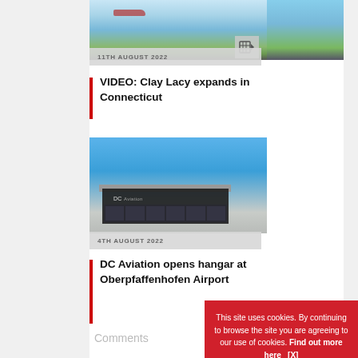[Figure (photo): Aerial/runway photograph of aircraft with airport in background, partially visible at top]
11TH AUGUST 2022
VIDEO: Clay Lacy expands in Connecticut
[Figure (photo): DC Aviation hangar building with blue sky background at Oberpfaffenhofen Airport]
4TH AUGUST 2022
DC Aviation opens hangar at Oberpfaffenhofen Airport
Comments
This site uses cookies. By continuing to browse the site you are agreeing to our use of cookies. Find out more here   [X]